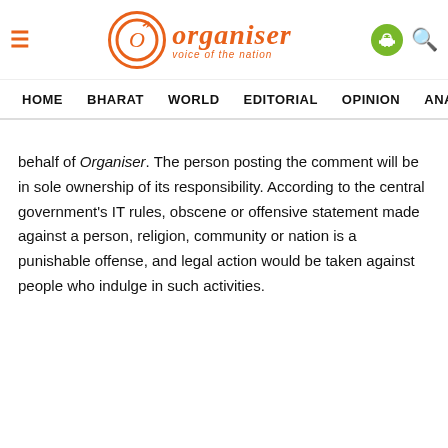[Figure (logo): Organiser magazine logo with orange O circle, text 'Organiser' in orange italic, tagline 'voice of the nation', hamburger menu icon, Android app icon, and search icon]
HOME   BHARAT   WORLD   EDITORIAL   OPINION   ANA…
behalf of Organiser. The person posting the comment will be in sole ownership of its responsibility. According to the central government's IT rules, obscene or offensive statement made against a person, religion, community or nation is a punishable offense, and legal action would be taken against people who indulge in such activities.